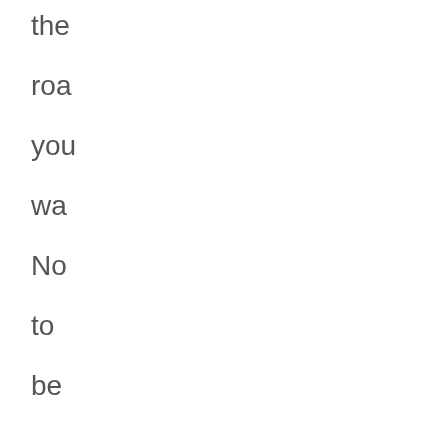the
roa
you
wa
No
to
be
on'
Its
not
the
one
I
wa
At
so
poi
the